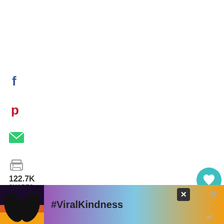[Figure (infographic): Social sharing sidebar with Facebook (f), Pinterest (P), email (envelope), and print icons]
122.7K
SHARES
Base Ingredients
You really only need 2 ingredients to make y...
[Figure (infographic): Teal heart button with 123K count and share button on right side]
[Figure (infographic): Ad banner with #ViralKindness text and heart silhouette over sunset background, with X close buttons]